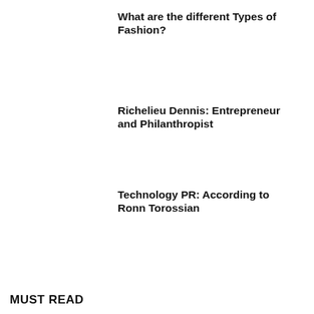What are the different Types of Fashion?
Richelieu Dennis: Entrepreneur and Philanthropist
Technology PR: According to Ronn Torossian
MUST READ